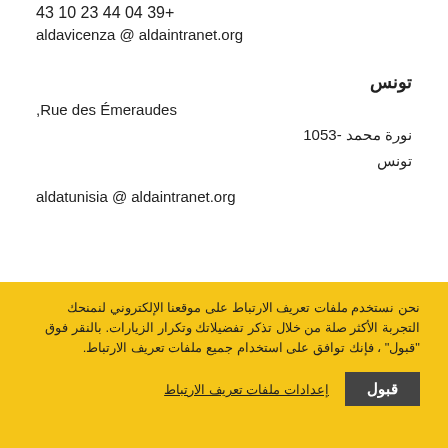43 10 23 44 04 39+
aldavicenza @ aldaintranet.org
تونس
Rue des Émeraudes ,
1053- نورة محمد
تونس
aldatunisia @ aldaintranet.org
نحن نستخدم ملفات تعريف الارتباط على موقعنا الإلكتروني لنمنحك التجربة الأكثر صلة من خلال تذكر تفضيلاتك وتكرار الزيارات. بالنقر فوق "قبول" ، فإنك توافق على استخدام جميع ملفات تعريف الارتباط.
قبول
إعدادات ملفات تعريف الارتباط